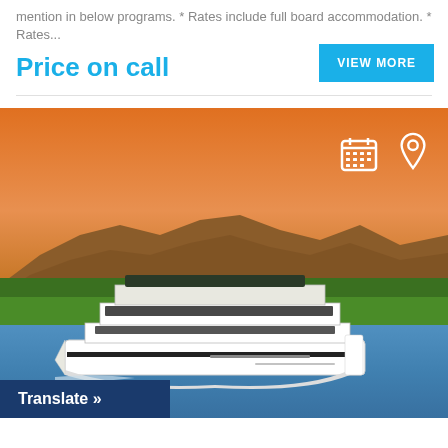mention in below programs. * Rates include full board accommodation. * Rates...
Price on call
VIEW MORE
[Figure (photo): A large white river cruise ship sailing on blue water with green palm trees and brown mountains behind it under an orange sunset sky. Two white icons (calendar and location pin) appear in the upper right of the image. A dark blue 'Translate »' button overlay appears at the bottom left.]